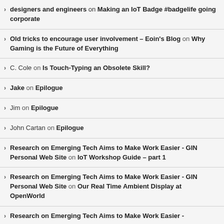designers and engineers on Making an IoT Badge #badgelife going corporate
Old tricks to encourage user involvement – Eoin's Blog on Why Gaming is the Future of Everything
C. Cole on Is Touch-Typing an Obsolete Skill?
Jake on Epilogue
Jim on Epilogue
John Cartan on Epilogue
Research on Emerging Tech Aims to Make Work Easier - GIN Personal Web Site on IoT Workshop Guide – part 1
Research on Emerging Tech Aims to Make Work Easier - GIN Personal Web Site on Our Real Time Ambient Display at OpenWorld
Research on Emerging Tech Aims to Make Work Easier -